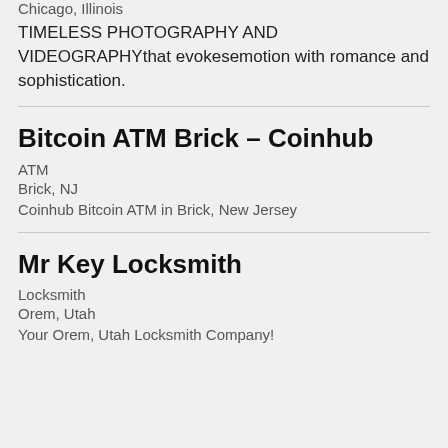Chicago, Illinois
TIMELESS PHOTOGRAPHY AND VIDEOGRAPHYthat evokesemotion with romance and sophistication.
Bitcoin ATM Brick – Coinhub
ATM
Brick, NJ
Coinhub Bitcoin ATM in Brick, New Jersey
Mr Key Locksmith
Locksmith
Orem, Utah
Your Orem, Utah Locksmith Company!